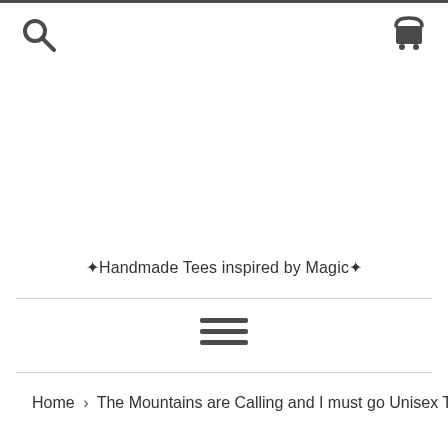Search icon and Cart icon navigation header
✦Handmade Tees inspired by Magic✦
[Figure (other): Hamburger menu icon — three horizontal bars stacked vertically centered on page]
Home › The Mountains are Calling and I must go Unisex Tee